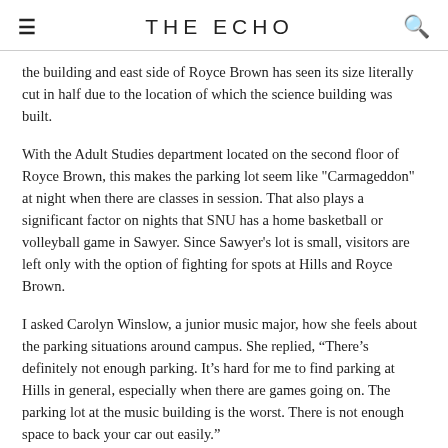THE ECHO
the building and east side of Royce Brown has seen its size literally cut in half due to the location of which the science building was built.
With the Adult Studies department located on the second floor of Royce Brown, this makes the parking lot seem like "Carmageddon" at night when there are classes in session. That also plays a significant factor on nights that SNU has a home basketball or volleyball game in Sawyer. Since Sawyer's lot is small, visitors are left only with the option of fighting for spots at Hills and Royce Brown.
I asked Carolyn Winslow, a junior music major, how she feels about the parking situations around campus. She replied, “There’s definitely not enough parking. It’s hard for me to find parking at Hills in general, especially when there are games going on. The parking lot at the music building is the worst. There is not enough space to back your car out easily.”